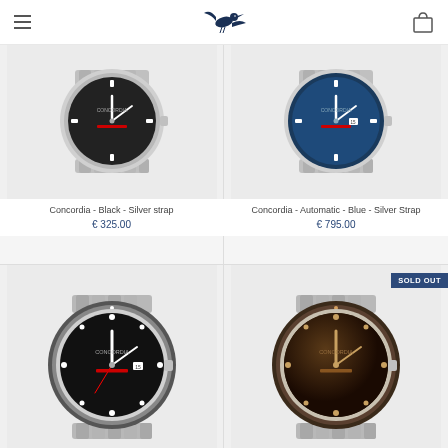Concordia watches brand header with logo and navigation
[Figure (photo): Concordia watch with black dial and silver strap]
Concordia - Black - Silver strap
€ 325.00
[Figure (photo): Concordia Automatic watch with blue dial and silver strap]
Concordia - Automatic - Blue - Silver Strap
€ 795.00
[Figure (photo): Concordia watch with black dial and silver strap (diver style)]
[Figure (photo): Concordia watch with brown/dark dial and silver strap - SOLD OUT]